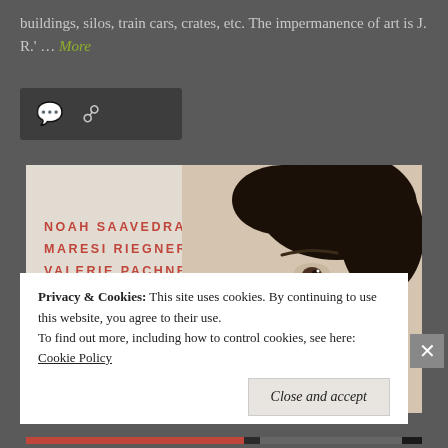buildings, silos, train cars, crates, etc. The impermanence of art is J. R.' ... More
[Figure (screenshot): Movie poster image with a man's face (curly dark hair, partial view). Names listed: NOAH SAAVEDRA, MARESI RIEGNER, VALERIE PACHNER in red bold uppercase letters on light background.]
Privacy & Cookies: This site uses cookies. By continuing to use this website, you agree to their use. To find out more, including how to control cookies, see here: Cookie Policy
Close and accept